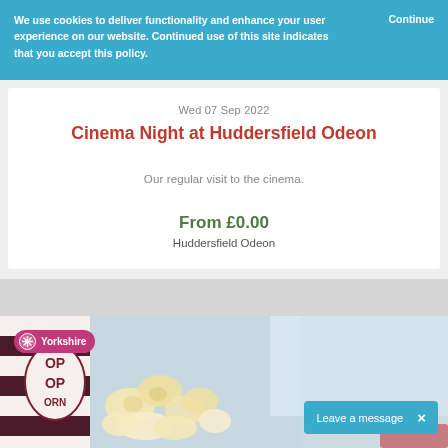We use cookies to deliver functionality and enhance your user experience on our website. Continued use of this site indicates that you accept this policy.
Continue
Wed 07 Sep 2022
Cinema Night at Huddersfield Odeon
Our regular visit to the cinema.
From £0.00
Huddersfield Odeon
[Figure (photo): Popcorn image with Yorkshire badge overlay and Leave a message chat button]
Yorkshire
Leave a message  ×